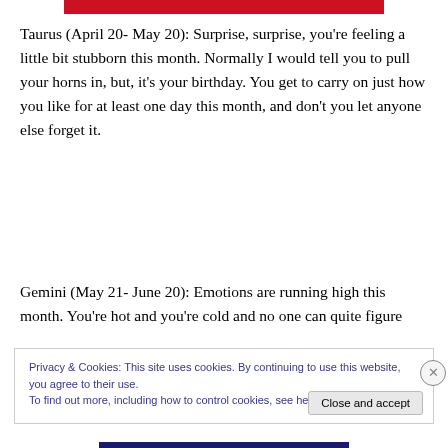[Figure (other): Red decorative bar at top of page]
Taurus (April 20- May 20): Surprise, surprise, you're feeling a little bit stubborn this month. Normally I would tell you to pull your horns in, but, it's your birthday. You get to carry on just how you like for at least one day this month, and don't you let anyone else forget it.
Gemini (May 21- June 20): Emotions are running high this month. You're hot and you're cold and no one can quite figure
Privacy & Cookies: This site uses cookies. By continuing to use this website, you agree to their use.
To find out more, including how to control cookies, see here: Cookie Policy
Close and accept